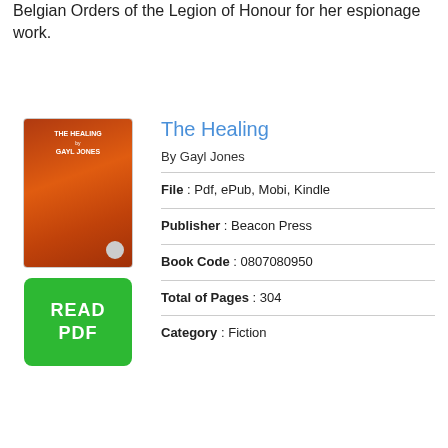Belgian Orders of the Legion of Honour for her espionage work.
The Healing
By Gayl Jones
File : Pdf, ePub, Mobi, Kindle
Publisher : Beacon Press
Book Code : 0807080950
Total of Pages : 304
Category : Fiction
[Figure (illustration): Book cover for The Healing with orange/red tones]
[Figure (other): Green READ PDF button]